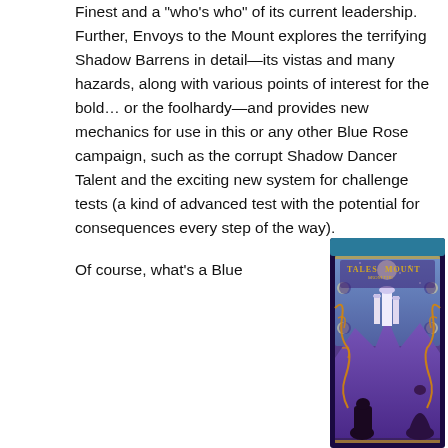Finest and a "who's who" of its current leadership. Further, Envoys to the Mount explores the terrifying Shadow Barrens in detail—its vistas and many hazards, along with various points of interest for the bold… or the foolhardy—and provides new mechanics for use in this or any other Blue Rose campaign, such as the corrupt Shadow Dancer Talent and the exciting new system for challenge tests (a kind of advanced test with the potential for consequences every step of the way).
Of course, what's a Blue
[Figure (illustration): Book cover art for 'Tales from the Mount' — a fantasy illustration featuring a purple and blue palette with a castle/tower on rocky terrain, moons, swirling vines, and robed figures, framed with an ornate border.]